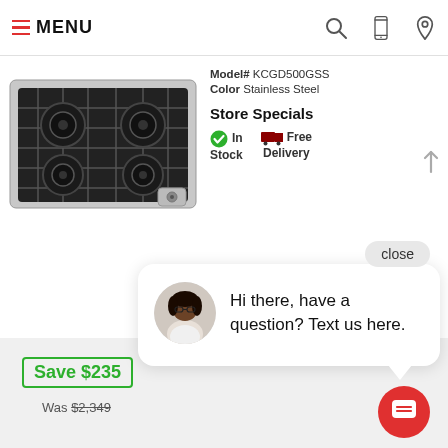MENU
Model# KCGD500GSS
Color Stainless Steel
Store Specials
In Stock   Free Delivery
[Figure (photo): Gas cooktop with four burners and grates, stainless steel]
close
Hi there, have a question? Text us here.
Save $235
Was $2,349